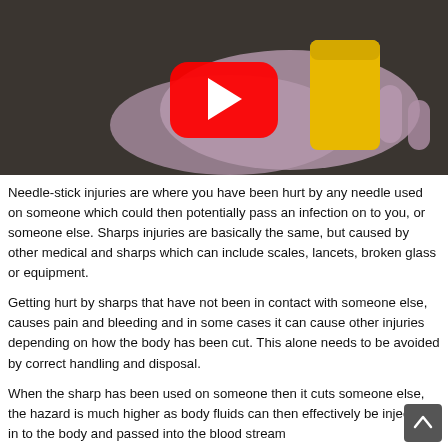[Figure (screenshot): YouTube video thumbnail showing a gloved hand holding a yellow sharps disposal container, with a red YouTube play button overlay and a small channel logo in the top-left corner.]
Needle-stick injuries are where you have been hurt by any needle used on someone which could then potentially pass an infection on to you, or someone else. Sharps injuries are basically the same, but caused by other medical and sharps which can include scales, lancets, broken glass or equipment.
Getting hurt by sharps that have not been in contact with someone else, causes pain and bleeding and in some cases it can cause other injuries depending on how the body has been cut. This alone needs to be avoided by correct handling and disposal.
When the sharp has been used on someone then it cuts someone else, the hazard is much higher as body fluids can then effectively be injected in to the body and passed into the blood stream